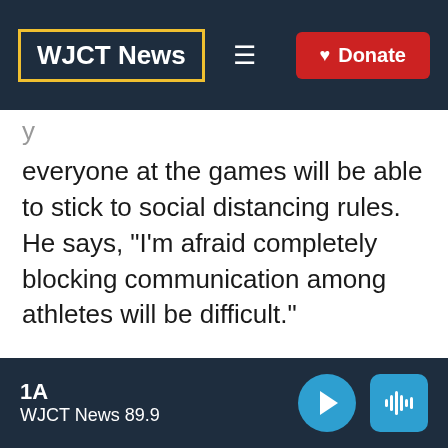WJCT News
everyone at the games will be able to stick to social distancing rules. He says, "I'm afraid completely blocking communication among athletes will be difficult."
The organizers, for example, plan to distribute 160,000 condoms to the athletes but no face masks, which the athletes will be expected to bring themselves. Organizers emphasize that handing out the
1A WJCT News 89.9